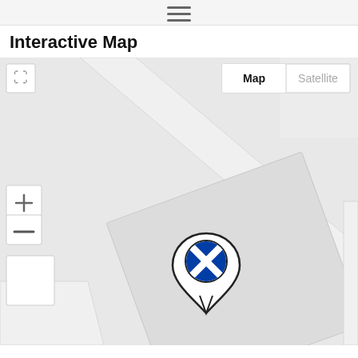☰ (hamburger menu icon)
Interactive Map
[Figure (map): Google Maps interactive map view showing a location in Scotland with a custom map pin featuring the Scottish Saltire (blue cross on white background). The map shows roads and buildings in light grey. Map controls include expand button (top-left), Map/Satellite toggle (top-right), zoom in/out buttons (left side), and street view button (bottom-left).]